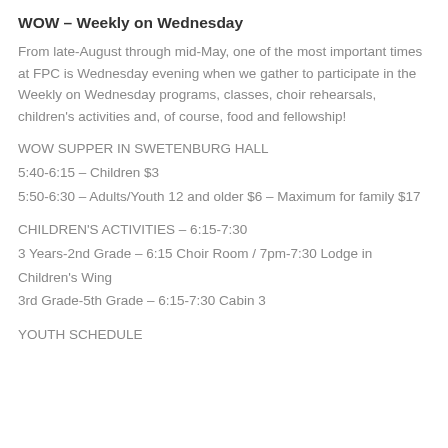large sharing group.  The class is led by Jack Spencer.
WOW – Weekly on Wednesday
From late-August through mid-May, one of the most important times at FPC is Wednesday evening when we gather to participate in the Weekly on Wednesday programs, classes, choir rehearsals, children's activities and, of course, food and fellowship!
WOW SUPPER IN SWETENBURG HALL
5:40-6:15 – Children $3
5:50-6:30 – Adults/Youth 12 and older $6 – Maximum for family $17
CHILDREN'S ACTIVITIES – 6:15-7:30
3 Years-2nd Grade – 6:15 Choir Room / 7pm-7:30 Lodge in Children's Wing
3rd Grade-5th Grade – 6:15-7:30 Cabin 3
YOUTH SCHEDULE